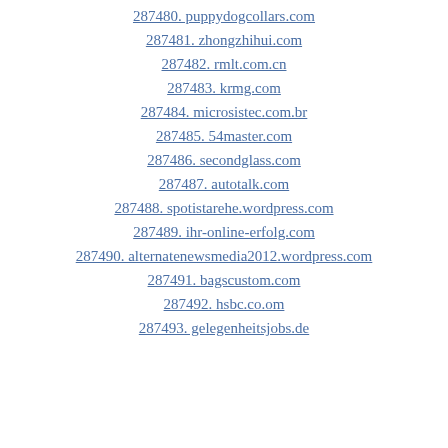287480. puppydogcollars.com
287481. zhongzhihui.com
287482. rmlt.com.cn
287483. krmg.com
287484. microsistec.com.br
287485. 54master.com
287486. secondglass.com
287487. autotalk.com
287488. spotistarehe.wordpress.com
287489. ihr-online-erfolg.com
287490. alternatenewsmedia2012.wordpress.com
287491. bagscustom.com
287492. hsbc.co.om
287493. gelegenheitsjobs.de